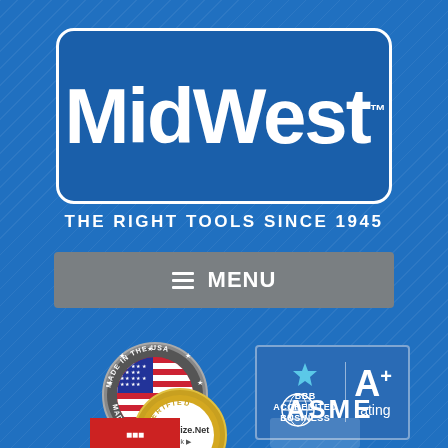[Figure (logo): MidWest brand logo — white text on blue rounded rectangle with white border]
THE RIGHT TOOLS SINCE 1945
≡  MENU
[Figure (logo): Made in the USA circular badge with American flag]
[Figure (logo): BBB Accredited Business A+ rating badge]
[Figure (logo): Authorize.Net Verified Merchant badge]
[Figure (logo): ASME logo]